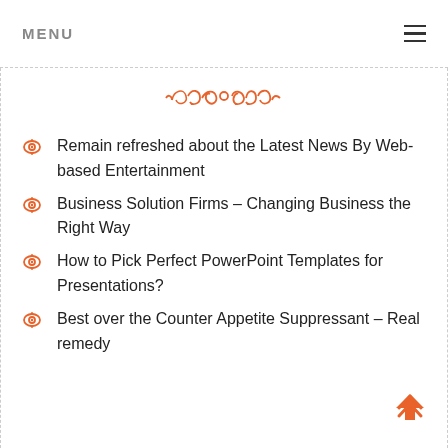MENU
[Figure (illustration): Decorative orange flourish/ornament divider]
Remain refreshed about the Latest News By Web-based Entertainment
Business Solution Firms – Changing Business the Right Way
How to Pick Perfect PowerPoint Templates for Presentations?
Best over the Counter Appetite Suppressant – Real remedy